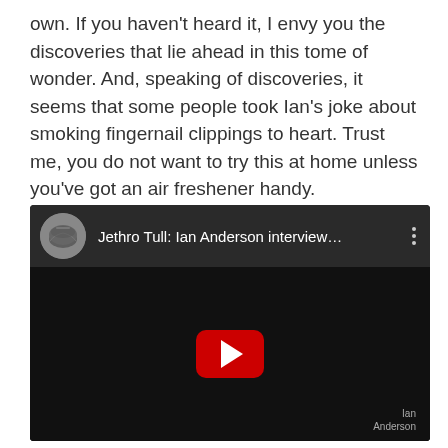own. If you haven't heard it, I envy you the discoveries that lie ahead in this tome of wonder. And, speaking of discoveries, it seems that some people took Ian's joke about smoking fingernail clippings to heart. Trust me, you do not want to try this at home unless you've got an air freshener handy.
[Figure (screenshot): YouTube video embed showing 'Jethro Tull: Ian Anderson interview...' with a dark thumbnail featuring a silhouetted figure, a red YouTube play button in the center, and an 'Ian Anderson' watermark in the lower right corner.]